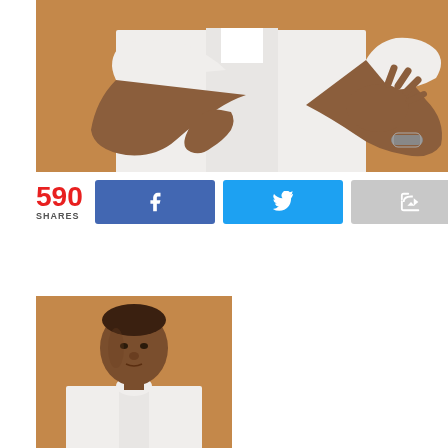[Figure (photo): A man in a white traditional embroidered shirt gesturing with his hands against a brown/orange background. His torso and hands are visible, wearing a beaded bracelet on one wrist.]
590 SHARES
[Figure (illustration): Social share buttons: Facebook (blue with f icon), Twitter (light blue with bird icon), and a gray share/forward button.]
[Figure (photo): A man in a white traditional shirt looking slightly to the side, with a warm brown background. Portrait shot showing head and upper torso.]